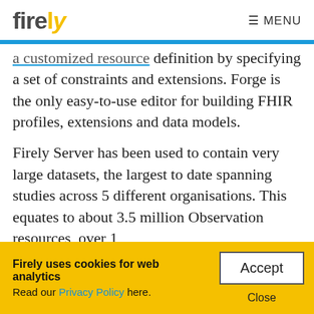firely  ≡ MENU
a customized resource definition by specifying a set of constraints and extensions. Forge is the only easy-to-use editor for building FHIR profiles, extensions and data models.
Firely Server has been used to contain very large datasets, the largest to date spanning studies across 5 different organisations. This equates to about 3.5 million Observation resources, over 1
Firely uses cookies for web analytics
Read our Privacy Policy here.
Accept
Close